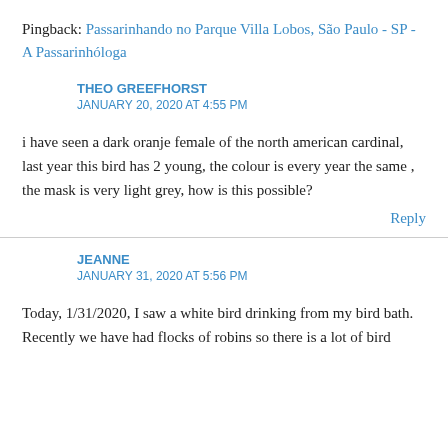Pingback: Passarinhando no Parque Villa Lobos, São Paulo - SP - A Passarinhóloga
THEO GREEFHORST
JANUARY 20, 2020 AT 4:55 PM
i have seen a dark oranje female of the north american cardinal, last year this bird has 2 young, the colour is every year the same , the mask is very light grey, how is this possible?
Reply
JEANNE
JANUARY 31, 2020 AT 5:56 PM
Today, 1/31/2020, I saw a white bird drinking from my bird bath. Recently we have had flocks of robins so there is a lot of bird